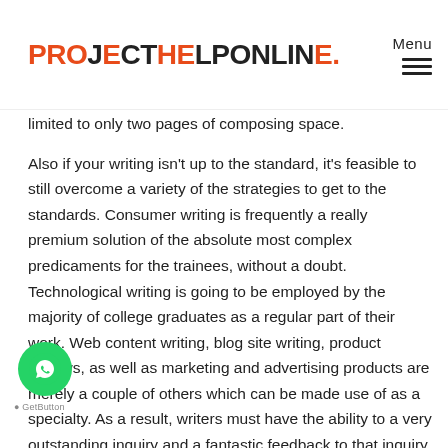PROJECTHELPONLINE.
limited to only two pages of composing space.
Also if your writing isn't up to the standard, it's feasible to still overcome a variety of the strategies to get to the standards. Consumer writing is frequently a really premium solution of the absolute most complex predicaments for the trainees, without a doubt. Technological writing is going to be employed by the majority of college graduates as a regular part of their work. Web content writing, blog site writing, product reviews, as well as marketing and advertising products are merely a couple of others which can be made use of as a specialty. As a result, writers must have the ability to a very outstanding inquiry and a fantastic feedback to that inquiry. It is impressive exactly how a lot of individuals will quest for a writer that especially creates in 1 design or for a single market.
[Figure (logo): WhatsApp chat button (green circle with phone icon)]
GetButton